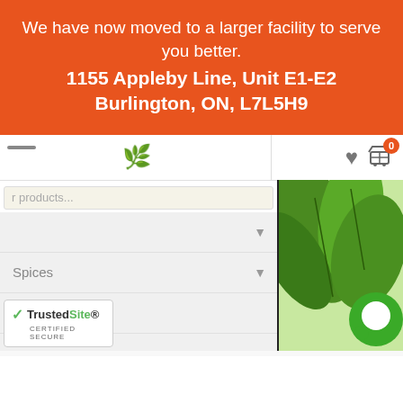We have now moved to a larger facility to serve you better.
1155 Appleby Line, Unit E1-E2 Burlington, ON, L7L5H9
[Figure (screenshot): Partial screenshot of an e-commerce website navigation showing a search bar with placeholder 'r products...', navigation menu items including 'Spices' and 'eas', a heart icon, shopping cart icon with badge '0', a leaf logo, and a green herb/lettuce image on the right with a green chat bubble circle icon. A TrustedSite certified secure badge is visible at the bottom left.]